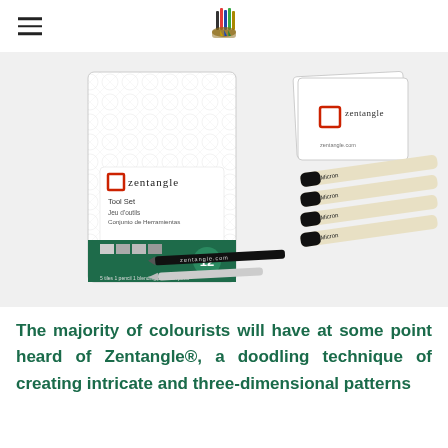[logo: pencils/markers icon]
[Figure (photo): Zentangle Tool Set product photo showing the 12-piece kit box with zentangle artwork on it, several Micron pens, white zentangle tiles/cards, a graphite pencil labeled zentangle.com, and a white blending stump.]
The majority of colourists will have at some point heard of Zentangle®, a doodling technique of creating intricate and three-dimensional patterns